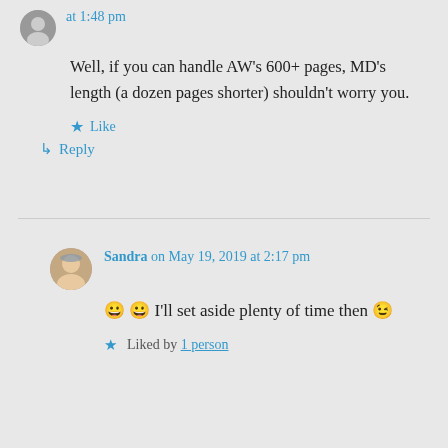at 1:48 pm
Well, if you can handle AW's 600+ pages, MD's length (a dozen pages shorter) shouldn't worry you.
Like
Reply
Sandra on May 19, 2019 at 2:17 pm
😀 😀 I'll set aside plenty of time then 😉
Liked by 1 person